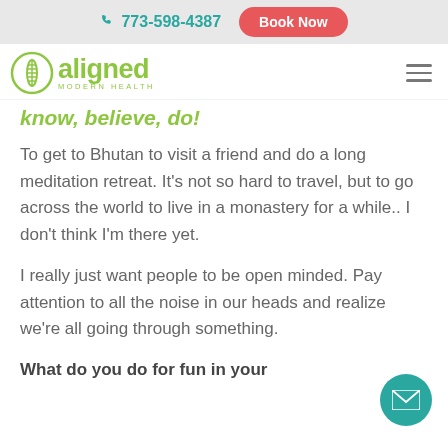773-598-4387   Book Now
[Figure (logo): Aligned Modern Health logo with green spine icon and green wordmark 'aligned MODERN HEALTH']
know, believe, do!
To get to Bhutan to visit a friend and do a long meditation retreat. It's not so hard to travel, but to go across the world to live in a monastery for a while.. I don't think I'm there yet.
I really just want people to be open minded. Pay attention to all the noise in our heads and realize we're all going through something.
What do you do for fun in your